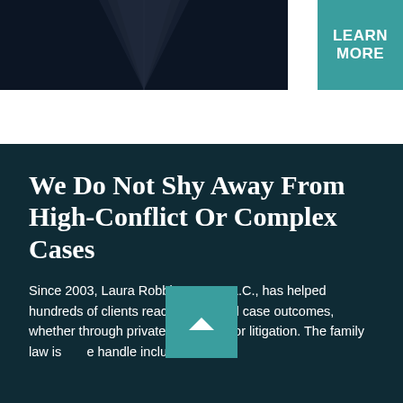[Figure (photo): Dark road/path photo with a teal 'LEARN MORE' button overlay on the right side]
We Do Not Shy Away From High-Conflict Or Complex Cases
Since 2003, Laura Robbins Law, L.L.C., has helped hundreds of clients reach successful case outcomes, whether through private negotiation or litigation. The family law issues we handle include: